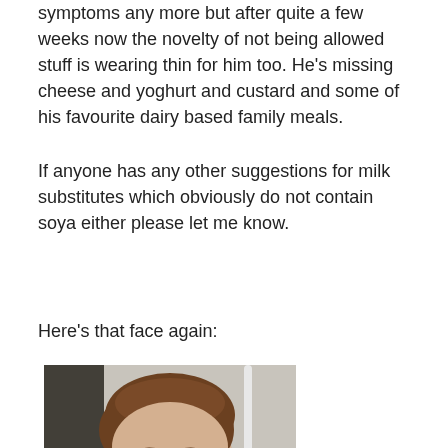symptoms any more but after quite a few weeks now the novelty of not being allowed stuff is wearing thin for him too. He's missing cheese and yoghurt and custard and some of his favourite dairy based family meals.
If anyone has any other suggestions for milk substitutes which obviously do not contain soya either please let me know.
Here's that face again:
[Figure (photo): A young boy wearing a white shirt and gold/yellow tie, making a scrunched-up facial expression, photographed indoors.]